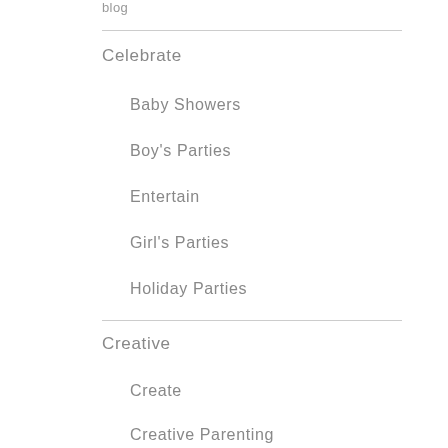blog
Celebrate
Baby Showers
Boy's Parties
Entertain
Girl's Parties
Holiday Parties
Creative
Create
Creative Parenting